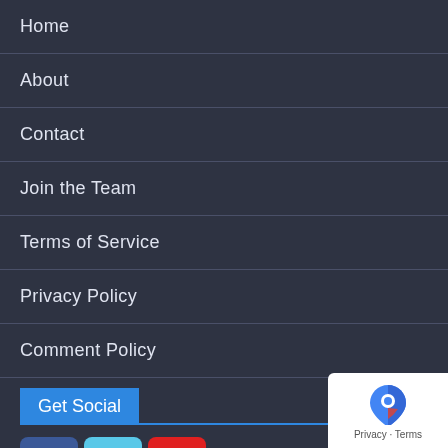Home
About
Contact
Join the Team
Terms of Service
Privacy Policy
Comment Policy
Get Social
[Figure (logo): Social media icons: Facebook (blue), Twitter (light blue), YouTube (red with play button)]
[Figure (logo): Google Maps / reCAPTCHA privacy badge with Privacy - Terms text]